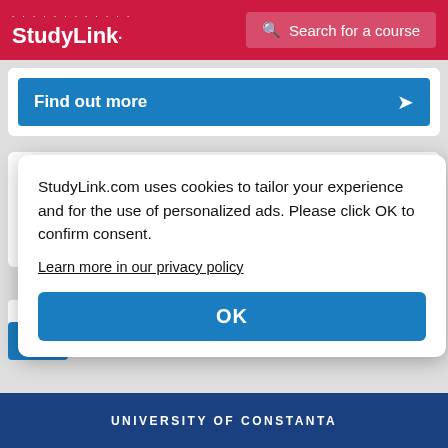StudyLink — Search for a course
Find out more
[Figure (logo): ESRA International Film School logo with 'GROUPE ESRA' tagline]
Filmmaking • 3 year
ESRA
Find
StudyLink.com uses cookies to tailor your experience and for the use of personalized ads. Please click OK to confirm consent.
Learn more in our privacy policy
OK
UNIVERSITY OF CONSTANTA